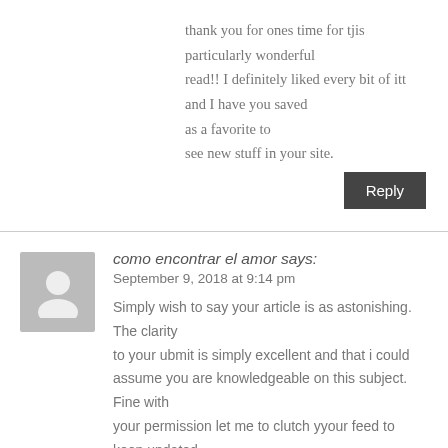thank you for ones time for tjis particularly wonderful read!! I definitely liked every bit of itt and I have you saved as a favorite to see new stuff in your site.
Reply
como encontrar el amor says:
September 9, 2018 at 9:14 pm
Simply wish to say your article is as astonishing. The clarity to your ubmit is simply excellent and that i could assume you are knowledgeable on this subject. Fine with your permission let me to clutch yyour feed to keep updated withh forthcoming post. Thank you a million and please carry on the enjjo